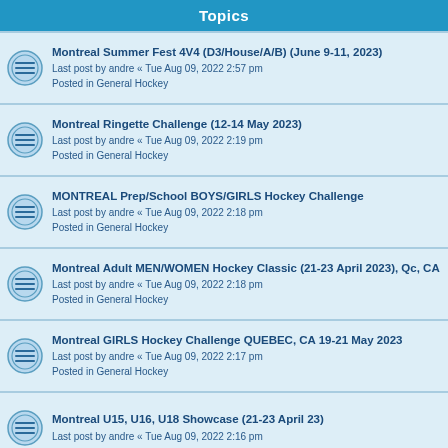Topics
Montreal Summer Fest 4V4 (D3/House/A/B) (June 9-11, 2023)
Last post by andre « Tue Aug 09, 2022 2:57 pm
Posted in General Hockey
Montreal Ringette Challenge (12-14 May 2023)
Last post by andre « Tue Aug 09, 2022 2:19 pm
Posted in General Hockey
MONTREAL Prep/School BOYS/GIRLS Hockey Challenge
Last post by andre « Tue Aug 09, 2022 2:18 pm
Posted in General Hockey
Montreal Adult MEN/WOMEN Hockey Classic (21-23 April 2023), Qc, CA
Last post by andre « Tue Aug 09, 2022 2:18 pm
Posted in General Hockey
Montreal GIRLS Hockey Challenge QUEBEC, CA 19-21 May 2023
Last post by andre « Tue Aug 09, 2022 2:17 pm
Posted in General Hockey
Montreal U15, U16, U18 Showcase (21-23 April 23)
Last post by andre « Tue Aug 09, 2022 2:16 pm